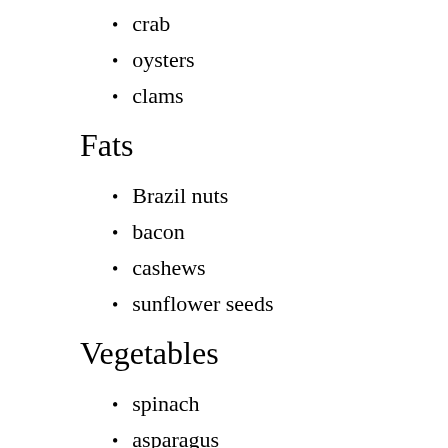crab
oysters
clams
Fats
Brazil nuts
bacon
cashews
sunflower seeds
Vegetables
spinach
asparagus
mushrooms
broccoli